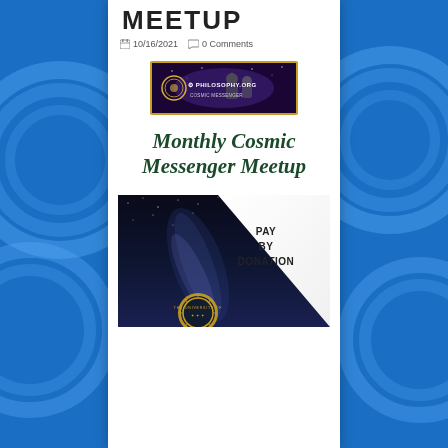MEETUP
10/16/2021   0 Comments
[Figure (logo): Philosophy.org logo banner with two people and circular emblem on purple/dark background with gold border]
Monthly Cosmic Messenger Meetup
[Figure (infographic): Event image showing night sky with Milky Way galaxy, 'PAY BY DONATION' text in upper right white triangle, and University seal/emblem at bottom center]